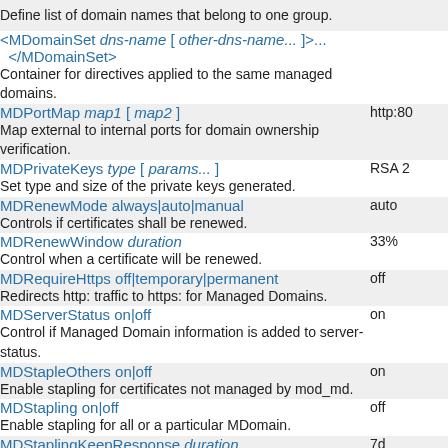Define list of domain names that belong to one group.
<MDomainSet dns-name [ other-dns-name... ]>...
</MDomainSet>
Container for directives applied to the same managed domains.
MDPortMap map1 [ map2 ]
Map external to internal ports for domain ownership verification.
MDPrivateKeys type [ params... ]
Set type and size of the private keys generated.
MDRenewMode always|auto|manual
Controls if certificates shall be renewed.
MDRenewWindow duration
Control when a certificate will be renewed.
MDRequireHttps off|temporary|permanent
Redirects http: traffic to https: for Managed Domains.
MDServerStatus on|off
Control if Managed Domain information is added to server-status.
MDStapleOthers on|off
Enable stapling for certificates not managed by mod_md.
MDStapling on|off
Enable stapling for all or a particular MDomain.
MDStaplingKeepResponse duration
Controls when old responses should be removed.